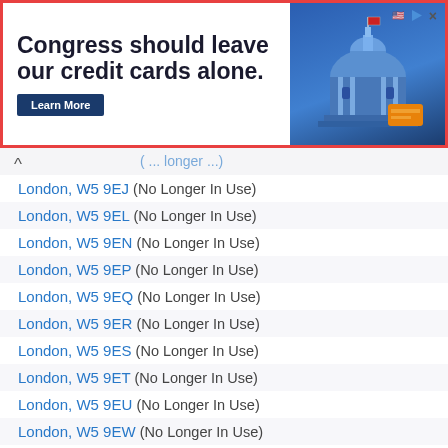[Figure (other): Advertisement banner: 'Congress should leave our credit cards alone.' with a Learn More button and an illustration of the US Capitol building]
London, W5 9EJ (No Longer In Use)
London, W5 9EL (No Longer In Use)
London, W5 9EN (No Longer In Use)
London, W5 9EP (No Longer In Use)
London, W5 9EQ (No Longer In Use)
London, W5 9ER (No Longer In Use)
London, W5 9ES (No Longer In Use)
London, W5 9ET (No Longer In Use)
London, W5 9EU (No Longer In Use)
London, W5 9EW (No Longer In Use)
London, W5 9EX
London, W5 9EY (No Longer In Use)